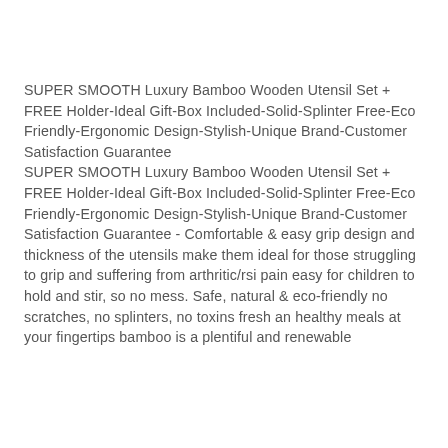SUPER SMOOTH Luxury Bamboo Wooden Utensil Set + FREE Holder-Ideal Gift-Box Included-Solid-Splinter Free-Eco Friendly-Ergonomic Design-Stylish-Unique Brand-Customer Satisfaction Guarantee
SUPER SMOOTH Luxury Bamboo Wooden Utensil Set + FREE Holder-Ideal Gift-Box Included-Solid-Splinter Free-Eco Friendly-Ergonomic Design-Stylish-Unique Brand-Customer Satisfaction Guarantee - Comfortable & easy grip design and thickness of the utensils make them ideal for those struggling to grip and suffering from arthritic/rsi pain easy for children to hold and stir, so no mess. Safe, natural & eco-friendly no scratches, no splinters, no toxins fresh an healthy meals at your fingertips bamboo is a plentiful and renewable